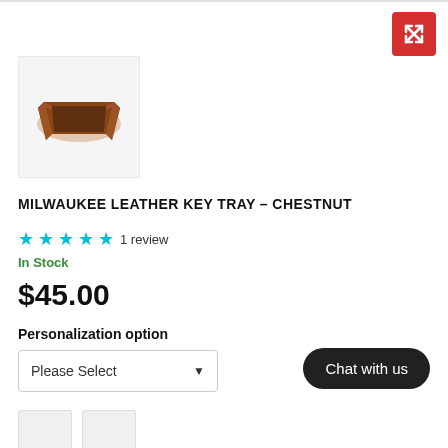[Figure (photo): Product thumbnail of Milwaukee Leather Key Tray in Chestnut color, a small square brown leather tray on light gray background]
MILWAUKEE LEATHER KEY TRAY - CHESTNUT
★★★★★ 1 review
In Stock
$45.00
Personalization option
Please Select
Chat with us